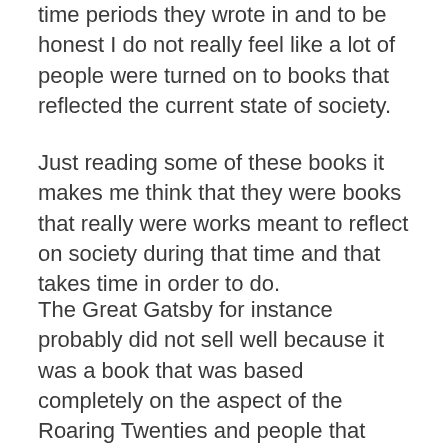time periods they wrote in and to be honest I do not really feel like a lot of people were turned on to books that reflected the current state of society.
Just reading some of these books it makes me think that they were books that really were works meant to reflect on society during that time and that takes time in order to do.
The Great Gatsby for instance probably did not sell well because it was a book that was based completely on the aspect of the Roaring Twenties and people that experienced that time and were experiencing it during that time did not really care about this fact.